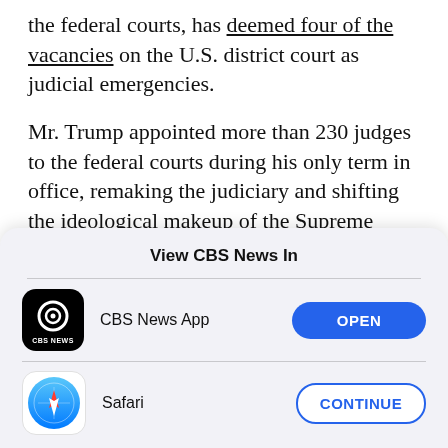the federal courts, has deemed four of the vacancies on the U.S. district court as judicial emergencies.
Mr. Trump appointed more than 230 judges to the federal courts during his only term in office, remaking the judiciary and shifting the ideological makeup of the Supreme Court to the right with his three appointments there.
View CBS News In
[Figure (screenshot): CBS News App row with black CBS News icon, label 'CBS News App', and blue OPEN button]
[Figure (screenshot): Safari row with Safari compass icon, label 'Safari', and outlined CONTINUE button]